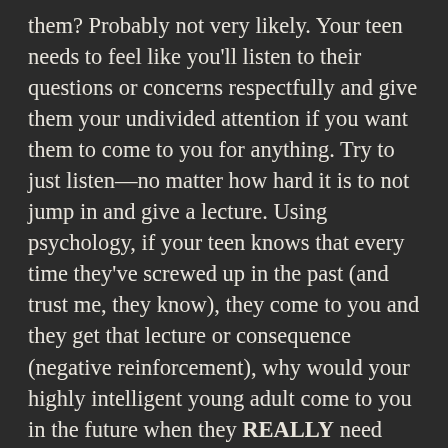them? Probably not very likely. Your teen needs to feel like you'll listen to their questions or concerns respectfully and give them your undivided attention if you want them to come to you for anything. Try to just listen—no matter how hard it is to not jump in and give a lecture. Using psychology, if your teen knows that every time they've screwed up in the past (and trust me, they know), they come to you and they get that lecture or consequence (negative reinforcement), why would your highly intelligent young adult come to you in the future when they REALLY need your help and guidance? Answer: They won't. I've seen teens and young adults in college go to extreme lengths to make sure